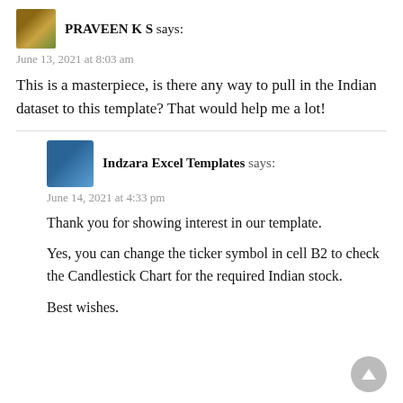[Figure (photo): Small avatar thumbnail of Praveen K S]
PRAVEEN K S says:
June 13, 2021 at 8:03 am
This is a masterpiece, is there any way to pull in the Indian dataset to this template? That would help me a lot!
[Figure (photo): Small avatar thumbnail of Indzara Excel Templates]
Indzara Excel Templates says:
June 14, 2021 at 4:33 pm
Thank you for showing interest in our template.
Yes, you can change the ticker symbol in cell B2 to check the Candlestick Chart for the required Indian stock.
Best wishes.